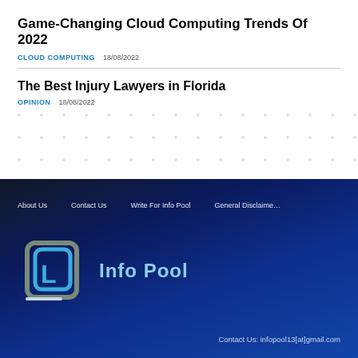Game-Changing Cloud Computing Trends Of 2022
CLOUD COMPUTING    18/08/2022
The Best Injury Lawyers in Florida
OPINION    18/08/2022
About Us   Contact Us   Write For Info Pool   General Disclaimer
[Figure (logo): Info Pool logo with stylized monitor/letter icon in teal and grey, with text 'Info Pool' in light blue]
Contact Us: infopool13[at]gmail.com